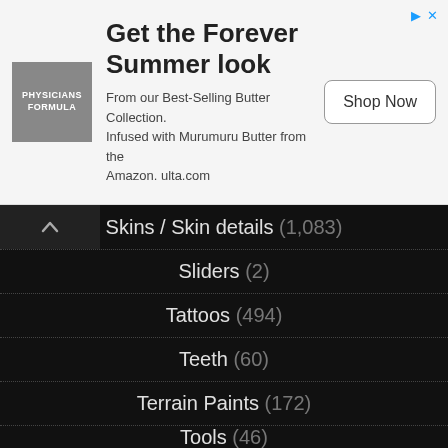[Figure (other): Advertisement banner for Physicians Formula 'Get the Forever Summer look' from their Best-Selling Butter Collection, Infused with Murumuru Butter from the Amazon. ulta.com. Shop Now button.]
Skins / Skin details (1,083)
Sliders (2)
Tattoos (494)
Teeth (60)
Terrain Paints (172)
Tools (46)
Toys (130)
Tutorials (82)
Uncategorized (2)
Worlds (44)